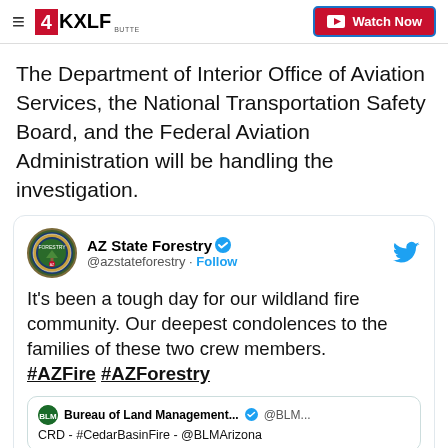4KXLF Butte — Watch Now
The Department of Interior Office of Aviation Services, the National Transportation Safety Board, and the Federal Aviation Administration will be handling the investigation.
[Figure (screenshot): Embedded tweet from @azstateforestry (AZ State Forestry, verified): 'It's been a tough day for our wildland fire community. Our deepest condolences to the families of these two crew members. #AZFire #AZForestry'. Contains nested quote tweet from Bureau of Land Management... @BLM... with text 'CRD - #CedarBasinFire - @BLMArizona']